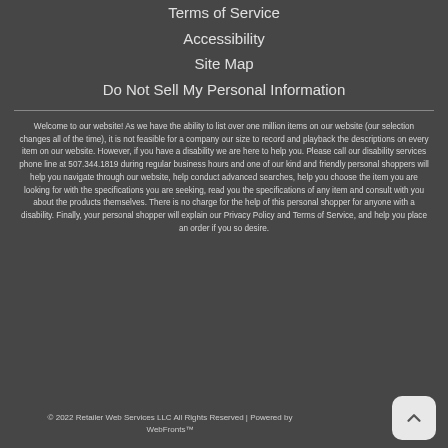Terms of Service
Accessibility
Site Map
Do Not Sell My Personal Information
Welcome to our website! As we have the ability to list over one million items on our website (our selection changes all of the time), it is not feasible for a company our size to record and playback the descriptions on every item on our website. However, if you have a disability we are here to help you. Please call our disability services phone line at 507.344.1819 during regular business hours and one of our kind and friendly personal shoppers will help you navigate through our website, help conduct advanced searches, help you choose the item you are looking for with the specifications you are seeking, read you the specifications of any item and consult with you about the products themselves. There is no charge for the help of this personal shopper for anyone with a disability. Finally, your personal shopper will explain our Privacy Policy and Terms of Service, and help you place an order if you so desire.
© 2022 Retailer Web Services LLC All Rights Reserved | Powered by WebFronts™